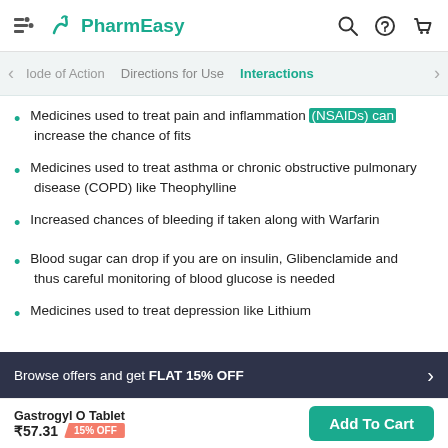PharmEasy
Mode of Action   Directions for Use   Interactions
Medicines used to treat pain and inflammation (NSAIDs) can increase the chance of fits
Medicines used to treat asthma or chronic obstructive pulmonary disease (COPD) like Theophylline
Increased chances of bleeding if taken along with Warfarin
Blood sugar can drop if you are on insulin, Glibenclamide and thus careful monitoring of blood glucose is needed
Medicines used to treat depression like Lithium
Browse offers and get FLAT 15% OFF
Gastrogyl O Tablet ₹57.31  15% OFF
Add To Cart